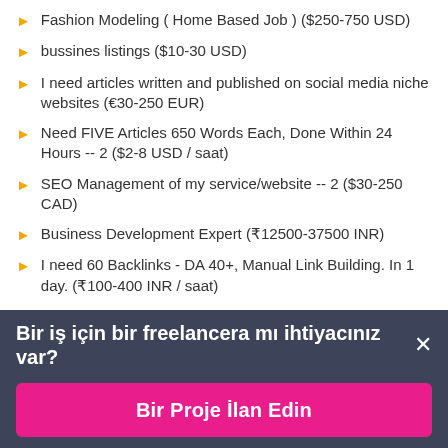Fashion Modeling ( Home Based Job ) ($250-750 USD)
bussines listings ($10-30 USD)
I need articles written and published on social media niche websites (€30-250 EUR)
Need FIVE Articles 650 Words Each, Done Within 24 Hours -- 2 ($2-8 USD / saat)
SEO Management of my service/website -- 2 ($30-250 CAD)
Business Development Expert (₹12500-37500 INR)
I need 60 Backlinks - DA 40+, Manual Link Building. In 1 day. (₹100-400 INR / saat)
Bir iş için bir freelancera mı ihtiyacınız var? ×
Bir Proje İlan Edin